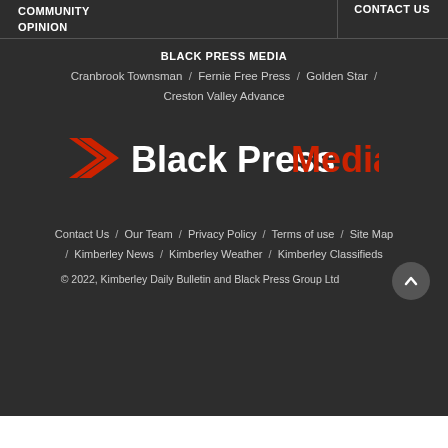COMMUNITY / OPINION / CONTACT US
BLACK PRESS MEDIA
Cranbrook Townsman / Fernie Free Press / Golden Star / Creston Valley Advance
[Figure (logo): Black Press Media logo with red arrow/chevron icon and white 'Black Press' text followed by red 'Media' text]
Contact Us / Our Team / Privacy Policy / Terms of use / Site Map / Kimberley News / Kimberley Weather / Kimberley Classifieds
© 2022, Kimberley Daily Bulletin and Black Press Group Ltd